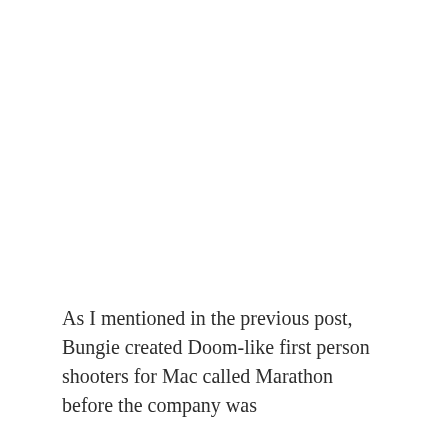As I mentioned in the previous post, Bungie created Doom-like first person shooters for Mac called Marathon before the company was